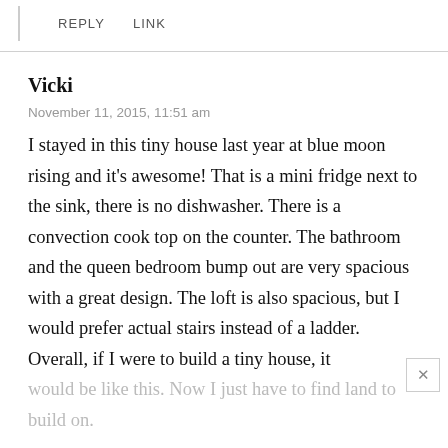REPLY   LINK
Vicki
November 11, 2015, 11:51 am
I stayed in this tiny house last year at blue moon rising and it's awesome! That is a mini fridge next to the sink, there is no dishwasher. There is a convection cook top on the counter. The bathroom and the queen bedroom bump out are very spacious with a great design. The loft is also spacious, but I would prefer actual stairs instead of a ladder. Overall, if I were to build a tiny house, it would be like this. Now I just have to find land to build on.